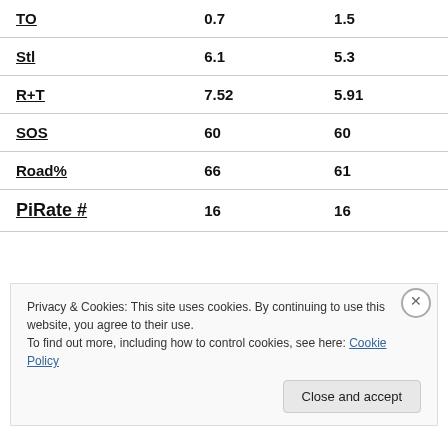| TO | 0.7 | 1.5 |
| Stl | 6.1 | 5.3 |
| R+T | 7.52 | 5.91 |
| SOS | 60 | 60 |
| Road% | 66 | 61 |
| PiRate # | 16 | 16 |
Privacy & Cookies: This site uses cookies. By continuing to use this website, you agree to their use.
To find out more, including how to control cookies, see here: Cookie Policy